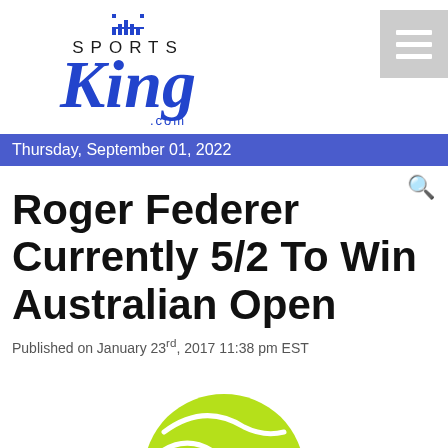[Figure (logo): Sports King .com logo with crown icon above 'SPORTS' text and stylized italic 'King' text in blue]
Thursday, September 01, 2022
Roger Federer Currently 5/2 To Win Australian Open
Published on January 23rd, 2017 11:38 pm EST
[Figure (photo): Tennis ball partially visible at bottom of page, yellow-green color]